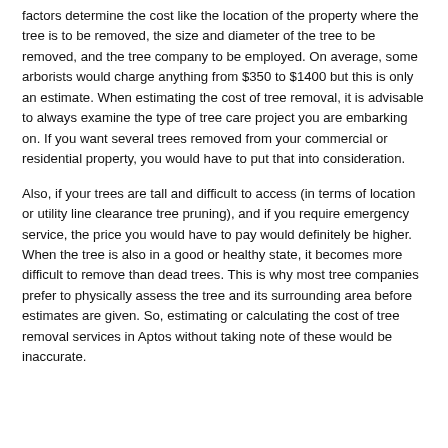factors determine the cost like the location of the property where the tree is to be removed, the size and diameter of the tree to be removed, and the tree company to be employed. On average, some arborists would charge anything from $350 to $1400 but this is only an estimate. When estimating the cost of tree removal, it is advisable to always examine the type of tree care project you are embarking on. If you want several trees removed from your commercial or residential property, you would have to put that into consideration.
Also, if your trees are tall and difficult to access (in terms of location or utility line clearance tree pruning), and if you require emergency service, the price you would have to pay would definitely be higher. When the tree is also in a good or healthy state, it becomes more difficult to remove than dead trees. This is why most tree companies prefer to physically assess the tree and its surrounding area before estimates are given. So, estimating or calculating the cost of tree removal services in Aptos without taking note of these would be inaccurate.